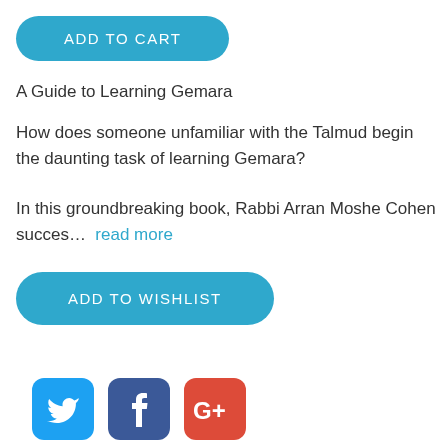[Figure (other): ADD TO CART button — teal/blue rounded pill button]
A Guide to Learning Gemara
How does someone unfamiliar with the Talmud begin the daunting task of learning Gemara?
In this groundbreaking book, Rabbi Arran Moshe Cohen succes…  read more
[Figure (other): ADD TO WISHLIST button — teal/blue rounded pill button]
[Figure (other): Social media icons: Twitter (blue bird), Facebook (dark blue f), Google+ (red G+)]